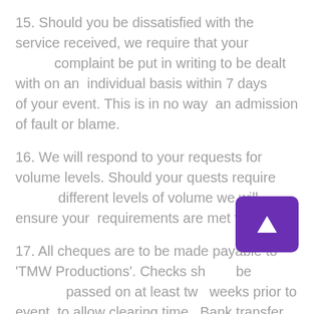15. Should you be dissatisfied with the service received, we require that your complaint be put in writing to be dealt with on an individual basis within 7 days of your event. This is in no way an admission of fault or blame.
16. We will respond to your requests for volume levels. Should your quests require different levels of volume we will ensure your requirements are met first.
17. All cheques are to be made payable to 'TMW Productions'. Checks should be passed on at least two weeks prior to event to allow clearing time. Bank transfer facilities are